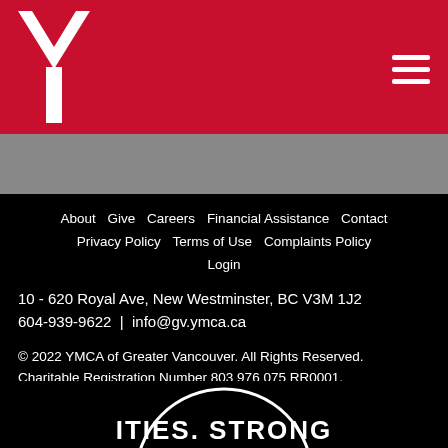[Figure (logo): YMCA white Y logo on red background with hamburger menu icon]
About  Give  Careers  Financial Assistance  Contact  Privacy Policy  Terms of Use  Complaints Policy  Login
10 - 620 Royal Ave, New Westminster, BC V3M 1J2
604-939-9622  |  info@gv.ymca.ca
© 2022 YMCA of Greater Vancouver. All Rights Reserved.
Charitable Registration Number 803 976 075 RR0001.
[Figure (logo): Partial circular YMCA logo at bottom showing 'ITIES. STRONG' text arc]